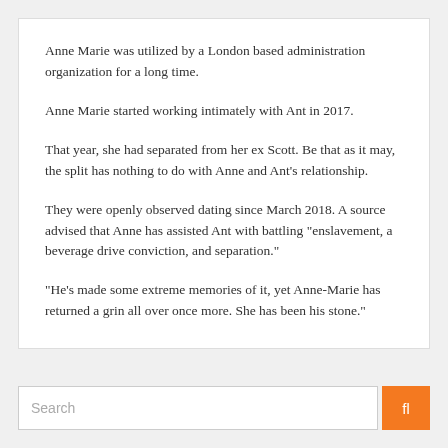Anne Marie was utilized by a London based administration organization for a long time.
Anne Marie started working intimately with Ant in 2017.
That year, she had separated from her ex Scott. Be that as it may, the split has nothing to do with Anne and Ant's relationship.
They were openly observed dating since March 2018. A source advised that Anne has assisted Ant with battling "enslavement, a beverage drive conviction, and separation."
"He's made some extreme memories of it, yet Anne-Marie has returned a grin all over once more. She has been his stone."